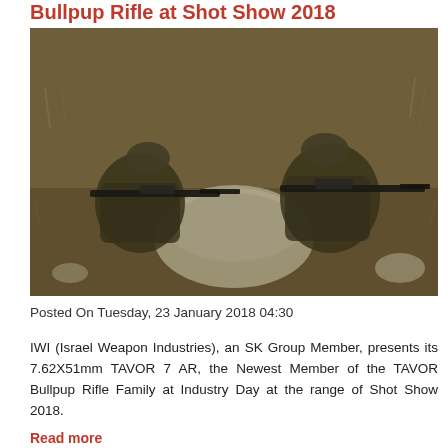Bullpup Rifle at Shot Show 2018
[Figure (photo): Two soldiers in camouflage gear aiming bullpup rifles from behind a large rock in a dry, grassy outdoor field setting]
Posted On Tuesday, 23 January 2018 04:30
IWI (Israel Weapon Industries), an SK Group Member, presents its 7.62X51mm TAVOR 7 AR, the Newest Member of the TAVOR Bullpup Rifle Family at Industry Day at the range of Shot Show 2018.
Read more